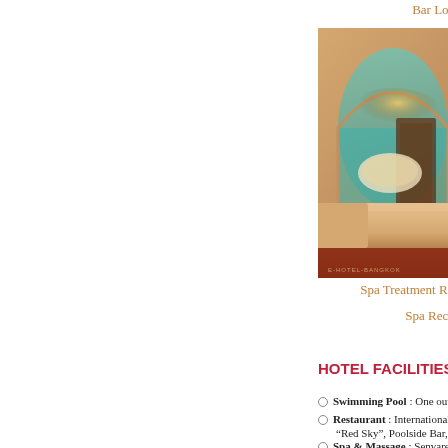Bar Lounge
[Figure (photo): Interior photo of a luxury hotel spa treatment room with a round bathtub, arched doorway with warm backlighting, massage bed in foreground with dark red accent, watermark E-HOTEL-BANGKOK]
Spa Treatment Room
Sp
Spa Reception
HOTEL FACILITIES
Swimming Pool : One outdoor swimming
Restaurant : International: “The World”, “Red Sky”, Poolside Bar, etc.
Spa & Massage : Senvaree Spa